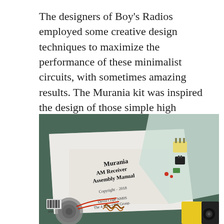The designers of Boy's Radios employed some creative design techniques to maximize the performance of these minimalist circuits, with sometimes amazing results. The Murania kit was inspired the design of those simple high performing transistor radios.
[Figure (photo): Photo of the Murania AM Receiver Assembly Manual (Copyright 2018, David Cripe NM0S, The 4 State QRP Group) laid out with electronic components in plastic bags including capacitors, small electronic parts, and a yellow-black device, plus a small speaker with red wires.]